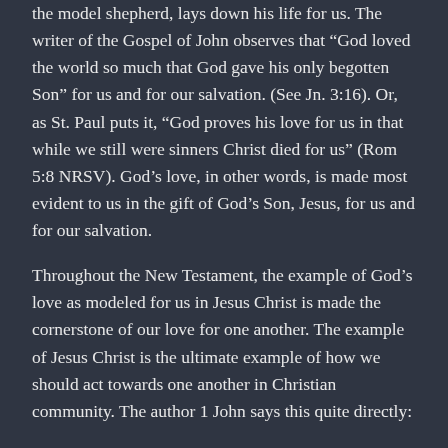the model shepherd, lays down his life for us. The writer of the Gospel of John observes that “God loved the world so much that God gave his only begotten Son” for us and for our salvation. (See Jn. 3:16). Or, as St. Paul puts it, “God proves his love for us in that while we still were sinners Christ died for us” (Rom 5:8 NRSV). God’s love, in other words, is made most evident to us in the gift of God’s Son, Jesus, for us and for our salvation.
Throughout the New Testament, the example of God’s love as modeled for us in Jesus Christ is made the cornerstone of our love for one another. The example of Jesus Christ is the ultimate example of how we should act towards one another in Christian community. The author 1 John says this quite directly:
Beloved, let us love one another because love is from God; everyone who loves is born of God and knows God. Whoever does not love does not know